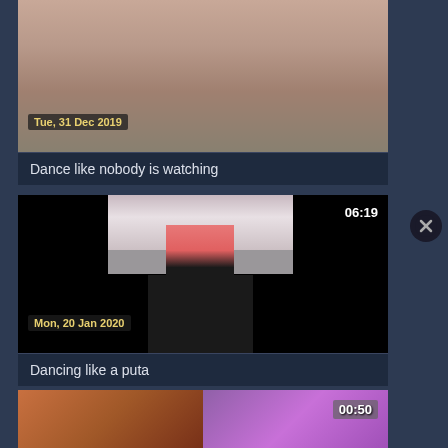[Figure (screenshot): Video thumbnail showing partial figure, dated Tue, 31 Dec 2019]
Dance like nobody is watching
[Figure (screenshot): Video thumbnail showing person dancing, duration 06:19, dated Mon, 20 Jan 2020]
Dancing like a puta
[Figure (screenshot): Video thumbnail showing colorful scene, duration 00:50]